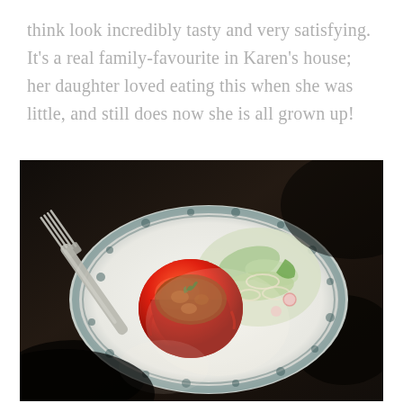think look incredibly tasty and very satisfying. It's a real family-favourite in Karen's house; her daughter loved eating this when she was little, and still does now she is all grown up!
[Figure (photo): Overhead photo of a stuffed red pepper with herb garnish on a decorative blue and white plate, accompanied by a green salad with sliced onions and radishes, with a fork resting on the plate. The plate sits on a dark wooden surface with dramatic sunlight and shadows.]